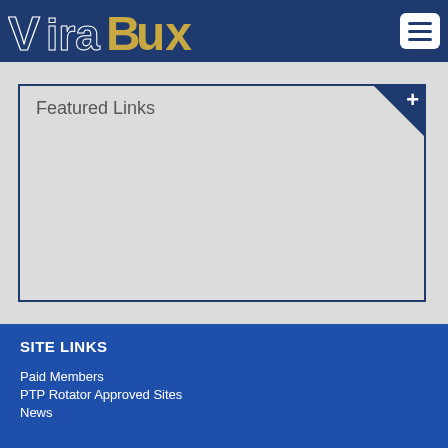ViraBux
Featured Links
SITE LINKS
Paid Members
PTP Rotator Approved Sites
News